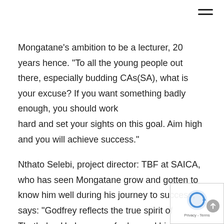Mongatane's ambition to be a lecturer, 20 years hence. "To all the young people out there, especially budding CAs(SA), what is your excuse? If you want something badly enough, you should work hard and set your sights on this goal. Aim high and you will achieve success."
Nthato Selebi, project director: TBF at SAICA, who has seen Mongatane grow and gotten to know him well during his journey to success, says: "Godfrey reflects the true spirit of Thuthuka. He has gone far beyond his circumstances in order to achieve great heights.
However, he has not forgotten where he came from. This is reflected in his selfless pursuit of assisting others from his home town, Mokopane, who are in the same position as he